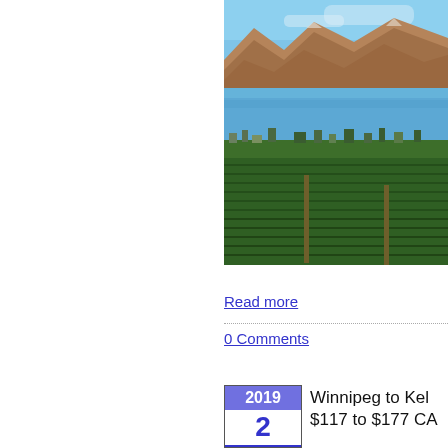[Figure (photo): Aerial/elevated view of a vineyard in the foreground with a lakeside town, a large blue lake, and mountains in the background under a blue sky. Partially cropped on the right side.]
Read more
0 Comments
2019
2
Winnipeg to Kel $117 to $177 CA